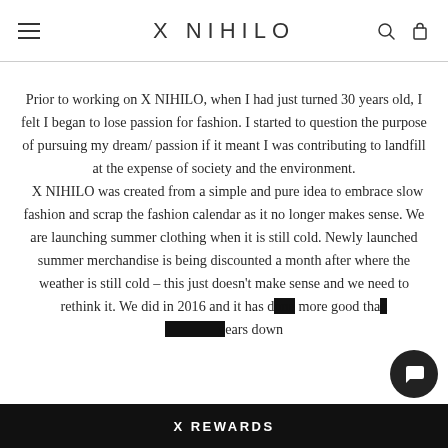X NIHILO
Prior to working on X NIHILO, when I had just turned 30 years old, I felt I began to lose passion for fashion. I started to question the purpose of pursuing my dream/ passion if it meant I was contributing to landfill at the expense of society and the environment.
  X NIHILO was created from a simple and pure idea to embrace slow fashion and scrap the fashion calendar as it no longer makes sense. We are launching summer clothing when it is still cold. Newly launched summer merchandise is being discounted a month after where the weather is still cold – this just doesn't make sense and we need to rethink it. We did in 2016 and it has done more good than years down
X REWARDS